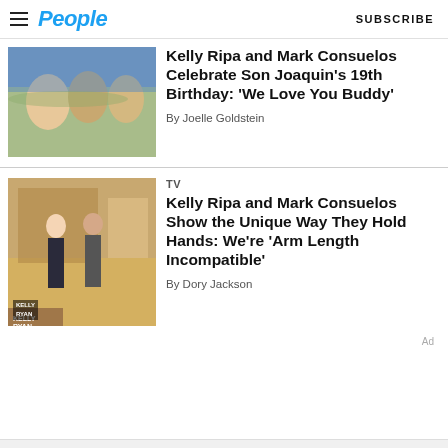People | SUBSCRIBE
[Figure (photo): Photo of Kelly Ripa and Mark Consuelos with son Joaquin at what appears to be a stadium event, smiling together]
Kelly Ripa and Mark Consuelos Celebrate Son Joaquin’s 19th Birthday: ‘We Love You Buddy’
By Joelle Goldstein
TV
[Figure (photo): Photo of Kelly Ripa and Mark Consuelos standing on the Live with Kelly and Mark TV set, Kelly in a floral top with black pants, Mark in a grey sweater with black pants]
Kelly Ripa and Mark Consuelos Show the Unique Way They Hold Hands: We’re ‘Arm Length Incompatible’
By Dory Jackson
Ad